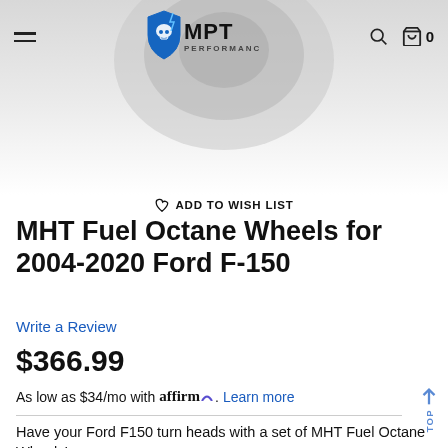MPT Performance
[Figure (logo): MPT Performance logo with skull shield icon in blue and black]
[Figure (photo): Product image of MHT Fuel Octane Wheel on gray gradient background]
ADD TO WISH LIST
MHT Fuel Octane Wheels for 2004-2020 Ford F-150
Write a Review
$366.99
As low as $34/mo with affirm. Learn more
Have your Ford F150 turn heads with a set of MHT Fuel Octane Wheels!